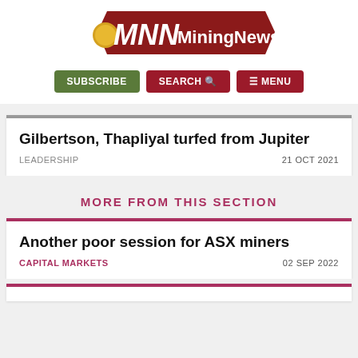[Figure (logo): MiningNews.net logo with red banner and gold coin]
SUBSCRIBE  SEARCH  MENU
Gilbertson, Thapliyal turfed from Jupiter
LEADERSHIP  21 OCT 2021
MORE FROM THIS SECTION
Another poor session for ASX miners
CAPITAL MARKETS  02 SEP 2022